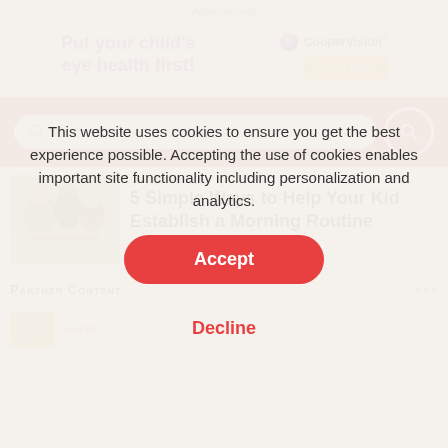Advertisement
[Figure (infographic): CooperVision advertisement banner: 'Put your child's eye health first!' with CooperVision logo and orange 'Learn More' button]
[Figure (screenshot): Search bar with placeholder text 'Find advice, events, things to do' on red background with search button]
[Figure (photo): Thumbnail photo of family in kitchen]
GUIDES
5 Simple Ways to Help Your Kid Establish a Morning Routine
Partner Content
This website uses cookies to ensure you get the best experience possible. Accepting the use of cookies enables important site functionality including personalization and analytics.
Accept
Decline